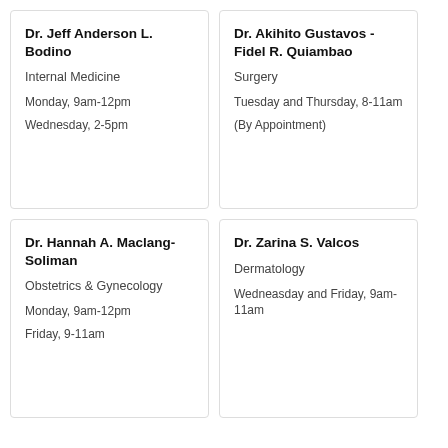Dr. Jeff Anderson L. Bodino
Internal Medicine
Monday, 9am-12pm
Wednesday, 2-5pm
Dr. Akihito Gustavos - Fidel R. Quiambao
Surgery
Tuesday and Thursday, 8-11am
(By Appointment)
Dr. Hannah A. Maclang-Soliman
Obstetrics & Gynecology
Monday, 9am-12pm
Friday, 9-11am
Dr. Zarina S. Valcos
Dermatology
Wedneasday and Friday, 9am-11am